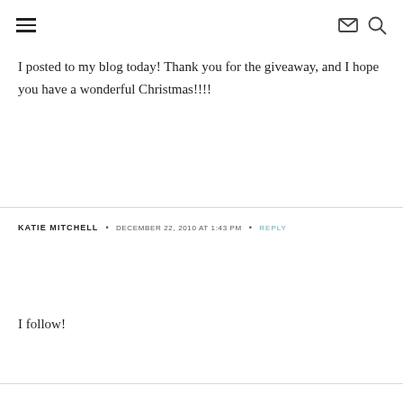≡  ✉  🔍
I posted to my blog today! Thank you for the giveaway, and I hope you have a wonderful Christmas!!!!
KATIE MITCHELL • DECEMBER 22, 2010 AT 1:43 PM • REPLY
I follow!